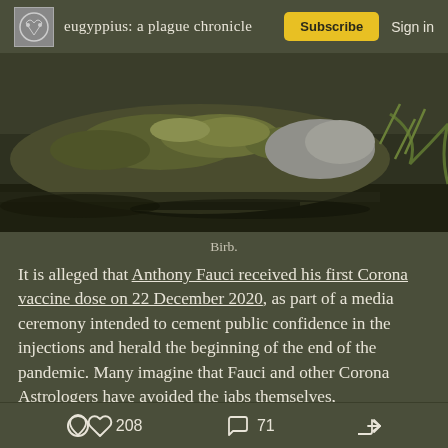eugyppius: a plague chronicle  Subscribe  Sign in
[Figure (photo): Outdoor nature photo showing a moss-covered rock or log near water, with vegetation in the background.]
Birb.
It is alleged that Anthony Fauci received his first Corona vaccine dose on 22 December 2020, as part of a media ceremony intended to cement public confidence in the injections and herald the beginning of the end of the pandemic. Many imagine that Fauci and other Corona Astrologers have avoided the jabs themselves,
208 likes  71 comments  Share